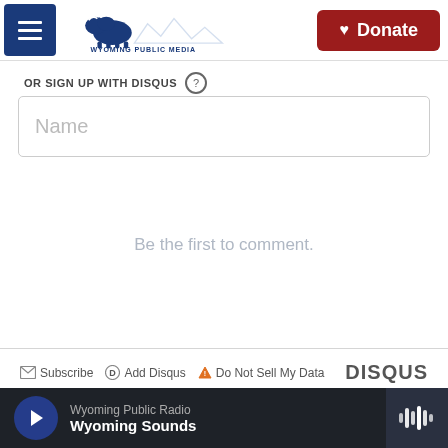Wyoming Public Media | Donate
OR SIGN UP WITH DISQUS (?)
Name
Be the first to comment.
Subscribe  Add Disqus  Do Not Sell My Data  DISQUS
[Figure (logo): Wyoming Public Media bison logo in white on dark background]
Wyoming Public Radio
Wyoming Sounds